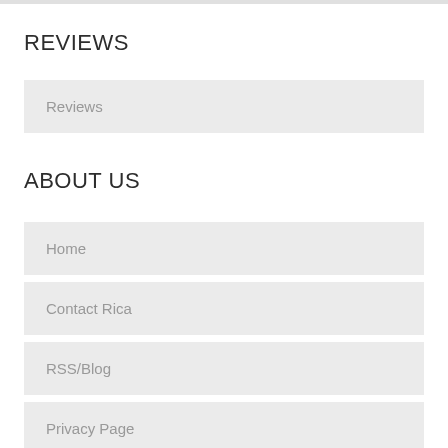REVIEWS
Reviews
ABOUT US
Home
Contact Rica
RSS/Blog
Privacy Page